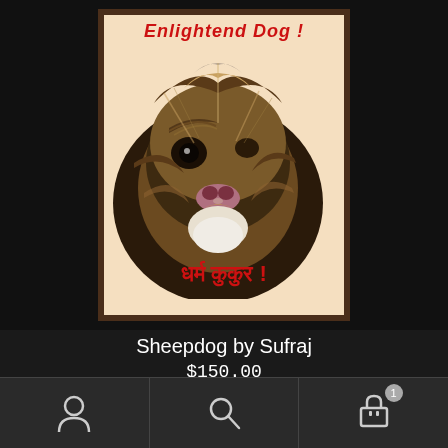[Figure (photo): A painting of a sheepdog (long-haired, fluffy dog) on a light peach background. At the top in red italic text: 'Enlightend Dog!' and at the bottom in red Devanagari script: 'धर्म कुकुर!' The painting is framed in dark brown wood.]
Sheepdog by Sufraj
$150.00
Add to cart
Navigation bar with user icon, search icon, and cart icon (badge: 1)